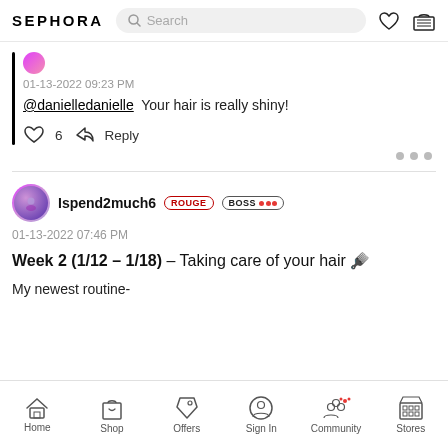SEPHORA
01-13-2022 09:23 PM
@danielledanielle  Your hair is really shiny!
6  Reply
Ispend2much6  ROUGE  BOSS
01-13-2022 07:46 PM
Week 2 (1/12 – 1/18) – Taking care of your hair 🪮
My newest routine-
Home  Shop  Offers  Sign In  Community  Stores